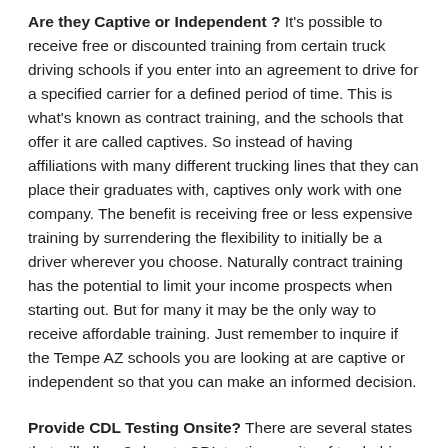Are they Captive or Independent? It's possible to receive free or discounted training from certain truck driving schools if you enter into an agreement to drive for a specified carrier for a defined period of time. This is what's known as contract training, and the schools that offer it are called captives. So instead of having affiliations with many different trucking lines that they can place their graduates with, captives only work with one company. The benefit is receiving free or less expensive training by surrendering the flexibility to initially be a driver wherever you choose. Naturally contract training has the potential to limit your income prospects when starting out. But for many it may be the only way to receive affordable training. Just remember to inquire if the Tempe AZ schools you are looking at are captive or independent so that you can make an informed decision.
Provide CDL Testing Onsite? There are several states that will allow 3rd party CDL testing onsite of truck driver